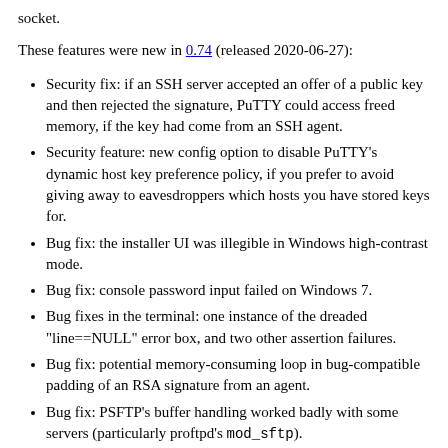socket.
These features were new in 0.74 (released 2020-06-27):
Security fix: if an SSH server accepted an offer of a public key and then rejected the signature, PuTTY could access freed memory, if the key had come from an SSH agent.
Security feature: new config option to disable PuTTY's dynamic host key preference policy, if you prefer to avoid giving away to eavesdroppers which hosts you have stored keys for.
Bug fix: the installer UI was illegible in Windows high-contrast mode.
Bug fix: console password input failed on Windows 7.
Bug fixes in the terminal: one instance of the dreaded "line==NULL" error box, and two other assertion failures.
Bug fix: potential memory-consuming loop in bug-compatible padding of an RSA signature from an agent.
Bug fix: PSFTP's buffer handling worked badly with some servers (particularly proftpd's mod_sftp).
Bug fix: cursor could be wrongly positioned when restoring from the alternate terminal screen. (A bug of this type was fixed in 0.59; this is a case that that fix missed.)
Bug fix: character cell height could be a pixel too small when running GTK PuTTY on Ubuntu 20.04 (or any other